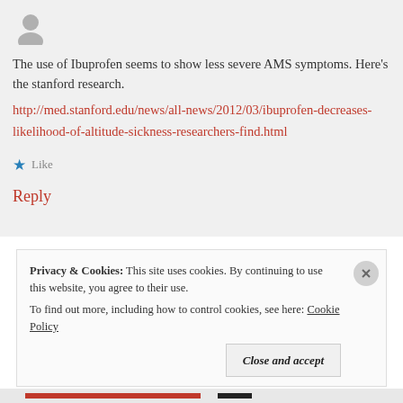[Figure (photo): User avatar silhouette, gray circle]
The use of Ibuprofen seems to show less severe AMS symptoms. Here's the stanford research.
http://med.stanford.edu/news/all-news/2012/03/ibuprofen-decreases-likelihood-of-altitude-sickness-researchers-find.html
Like
Reply
Privacy & Cookies: This site uses cookies. By continuing to use this website, you agree to their use. To find out more, including how to control cookies, see here: Cookie Policy
Close and accept